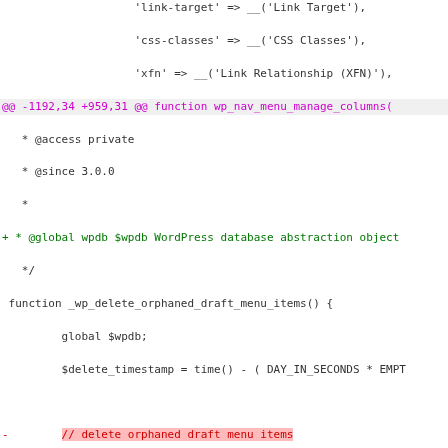[Figure (screenshot): A git diff view of PHP code showing changes to WordPress nav menu functions, with red (deleted) and green (added) lines, hunk headers in purple, and highlighted changed text regions.]